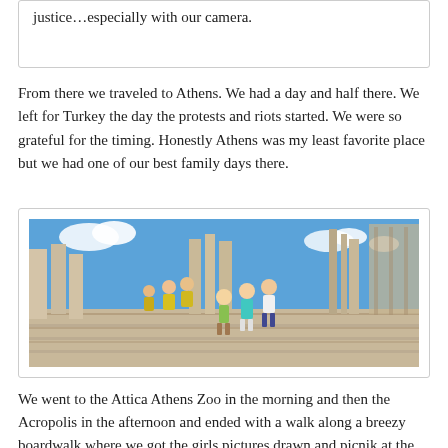justice…especially with our camera.
From there we traveled to Athens. We had a day and half there. We left for Turkey the day the protests and riots started. We were so grateful for the timing. Honestly Athens was my least favorite place but we had one of our best family days there.
[Figure (photo): Children and tourists climbing the large stone steps of the Acropolis in Athens, Greece, with ancient columns and ruins visible against a bright blue sky with clouds. A watermark reading 'Creative Commons' appears on the right side.]
We went to the Attica Athens Zoo in the morning and then the Acropolis in the afternoon and ended with a walk along a breezy boardwalk where we got the girls pictures drawn and picnik at the National Gardens. The weather was delightful and the children were amazing and very flexible that day and they had a wonderful time. We ended the night with getting lost driving on the